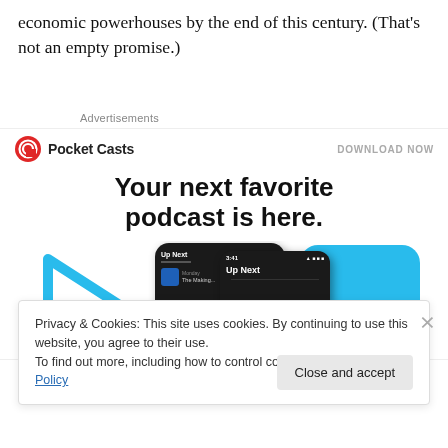economic powerhouses by the end of this century. (That's not an empty promise.)
Advertisements
[Figure (screenshot): Pocket Casts advertisement banner with logo, 'DOWNLOAD NOW' link, headline 'Your next favorite podcast is here.' and phone mockup images showing the app UI with 'Up Next' queue.]
Privacy & Cookies: This site uses cookies. By continuing to use this website, you agree to their use.
To find out more, including how to control cookies, see here: Cookie Policy
Close and accept